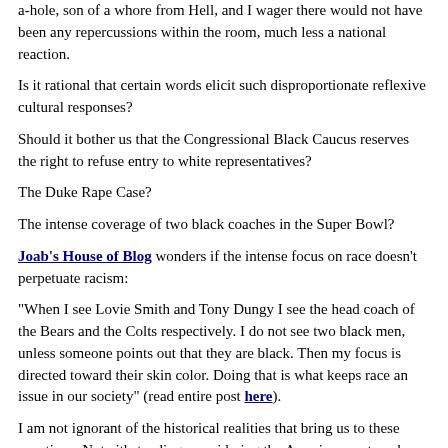a-hole, son of a whore from Hell, and I wager there would not have been any repercussions within the room, much less a national reaction.
Is it rational that certain words elicit such disproportionate reflexive cultural responses?
Should it bother us that the Congressional Black Caucus reserves the right to refuse entry to white representatives?
The Duke Rape Case?
The intense coverage of two black coaches in the Super Bowl?
Joab's House of Blog wonders if the intense focus on race doesn't perpetuate racism:
"When I see Lovie Smith and Tony Dungy I see the head coach of the Bears and the Colts respectively. I do not see two black men, unless someone points out that they are black. Then my focus is directed toward their skin color. Doing that is what keeps race an issue in our society" (read entire post here).
I am not ignorant of the historical realities that bring us to these questions. Notwithstanding, considering the American past, and looking toward a harmonious future, in our present racial reality